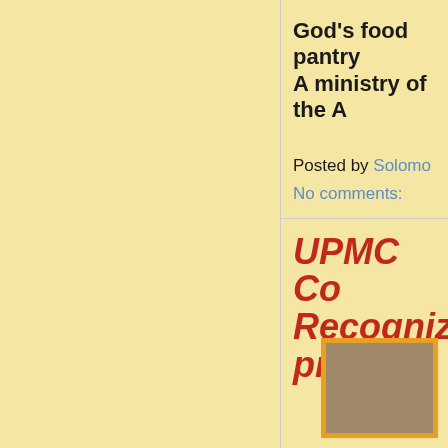God’s food pantry A ministry of the A
Posted by Solomo
No comments:
UPMC Co Recognize program
[Figure (photo): Photo with yellow/gold border showing a brownish box or object]